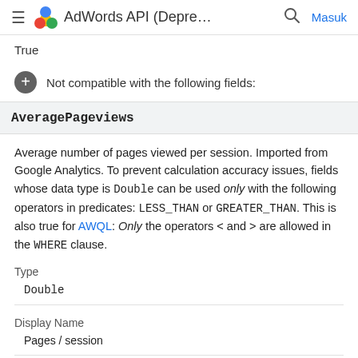AdWords API (Depre... Masuk
True
Not compatible with the following fields:
AveragePageviews
Average number of pages viewed per session. Imported from Google Analytics. To prevent calculation accuracy issues, fields whose data type is Double can be used only with the following operators in predicates: LESS_THAN or GREATER_THAN. This is also true for AWQL: Only the operators < and > are allowed in the WHERE clause.
Type
Double
Display Name
Pages / session
XML Attribute